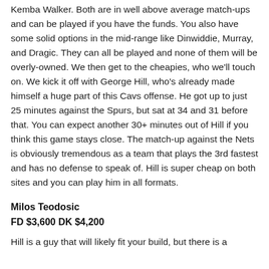Kemba Walker. Both are in well above average match-ups and can be played if you have the funds. You also have some solid options in the mid-range like Dinwiddie, Murray, and Dragic. They can all be played and none of them will be overly-owned. We then get to the cheapies, who we'll touch on. We kick it off with George Hill, who's already made himself a huge part of this Cavs offense. He got up to just 25 minutes against the Spurs, but sat at 34 and 31 before that. You can expect another 30+ minutes out of Hill if you think this game stays close. The match-up against the Nets is obviously tremendous as a team that plays the 3rd fastest and has no defense to speak of. Hill is super cheap on both sites and you can play him in all formats.
Milos Teodosic
FD $3,600 DK $4,200
Hill is a guy that will likely fit your build, but there is a